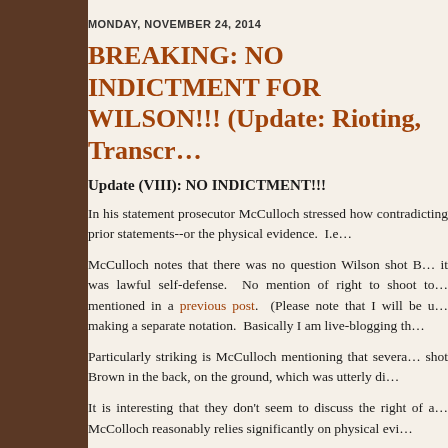MONDAY, NOVEMBER 24, 2014
BREAKING: NO INDICTMENT FOR WILSON!!! (Update: Rioting, Transcr...
Update (VIII): NO INDICTMENT!!!
In his statement prosecutor McCulloch stressed how contradicting prior statements--or the physical evidence.  I.e...
McCulloch notes that there was no question Wilson shot B... it was lawful self-defense.  No mention of right to shoot to... mentioned in a previous post.  (Please note that I will be up... making a separate notation.  Basically I am live-blogging th...
Particularly striking is McCulloch mentioning that severa... shot Brown in the back, on the ground, which was utterly di...
It is interesting that they don't seem to discuss the right of a... McColloch reasonably relies significantly on physical evi...